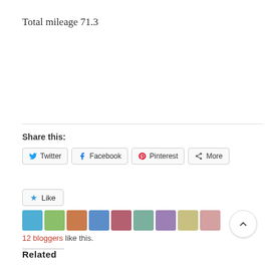Total mileage 71.3
Share this:
Twitter   Facebook   Pinterest   More
Like
12 bloggers like this.
Related